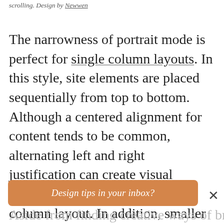scrolling. Design by Newwen
The narrowness of portrait mode is perfect for single column layouts. In this style, site elements are placed sequentially from top to bottom. Although a centered alignment for content tends to be common, alternating left and right justification can create visual interest and the illusion of a two-column layout. In addition, smaller elements like icons and photos can be presented in a grid, while image carousels can break up vertical scrolling with horizontal swiping.
Design tips in your inbox?
Aside from finding creative ways of breaking